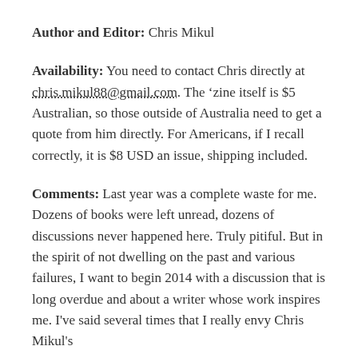Author and Editor: Chris Mikul
Availability: You need to contact Chris directly at chris.mikul88@gmail.com. The ‘zine itself is $5 Australian, so those outside of Australia need to get a quote from him directly. For Americans, if I recall correctly, it is $8 USD an issue, shipping included.
Comments: Last year was a complete waste for me. Dozens of books were left unread, dozens of discussions never happened here. Truly pitiful. But in the spirit of not dwelling on the past and various failures, I want to begin 2014 with a discussion that is long overdue and about a writer whose work inspires me. I’ve said several times that I really envy Chris Mikul’s